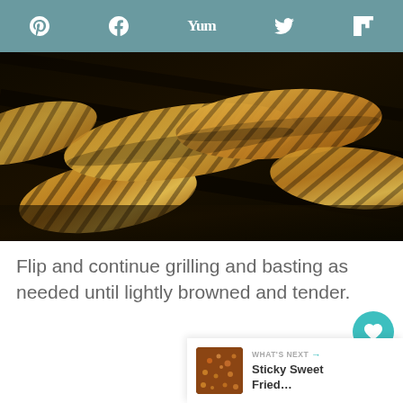Social share toolbar with Pinterest, Facebook, Yummly, Twitter, and Flipboard icons
[Figure (photo): Close-up photo of grilled eggplant slices with grill marks on a dark grill surface]
Flip and continue grilling and basting as needed until lightly browned and tender.
3
WHAT'S NEXT → Sticky Sweet Fried...